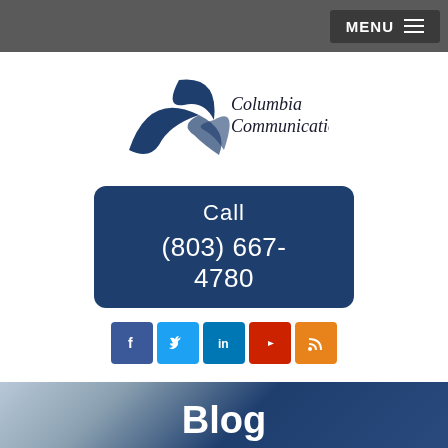MENU
[Figure (logo): Columbia Communications, LLC logo with stylized X/check mark in dark blue]
Call
(803) 667-4780
[Figure (infographic): Social media icons row: Facebook, Twitter, LinkedIn, YouTube, RSS]
Blog